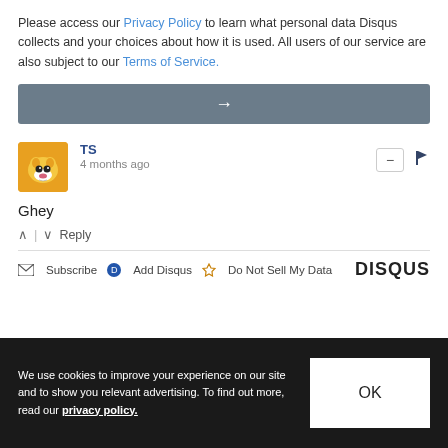Please access our Privacy Policy to learn what personal data Disqus collects and your choices about how it is used. All users of our service are also subject to our Terms of Service.
[Figure (other): Gray button bar with a right arrow icon]
TS
4 months ago
Ghey
Reply
Subscribe  Add Disqus  Do Not Sell My Data  DISQUS
We use cookies to improve your experience on our site and to show you relevant advertising. To find out more, read our privacy policy.